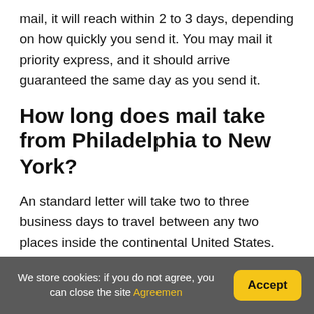mail, it will reach within 2 to 3 days, depending on how quickly you send it. You may mail it priority express, and it should arrive guaranteed the same day as you send it.
How long does mail take from Philadelphia to New York?
An standard letter will take two to three business days to travel between any two places inside the continental United States.
How long does it take to ship
We store cookies: if you do not agree, you can close the site Agreemen